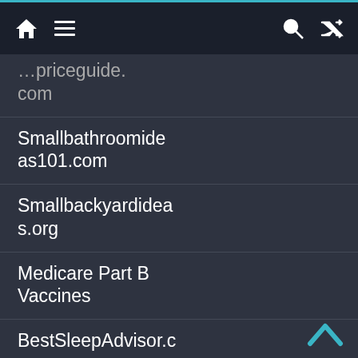Navigation bar with home, menu, search, and shuffle icons
…priceguide.com
Smallbathroomideas101.com
Smallbackyardideas.org
Medicare Part B Vaccines
BestSleepAdvisor.com
Zerogravitymassagechairs.net
Beststeamshowers.com